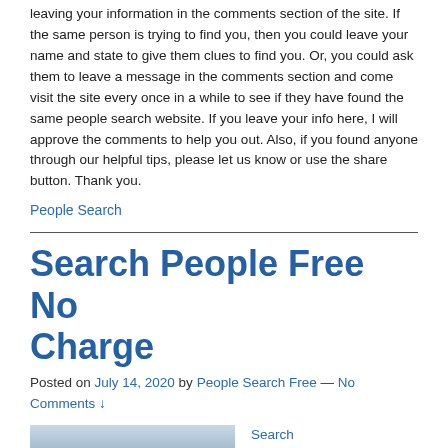leaving your information in the comments section of the site. If the same person is trying to find you, then you could leave your name and state to give them clues to find you. Or, you could ask them to leave a message in the comments section and come visit the site every once in a while to see if they have found the same people search website. If you leave your info here, I will approve the comments to help you out. Also, if you found anyone through our helpful tips, please let us know or use the share button. Thank you.
People Search
Search People Free No Charge
Posted on July 14, 2020 by People Search Free — No Comments ↓
[Figure (photo): A photo of a person partially visible, with a teal/blue background]
Search people free